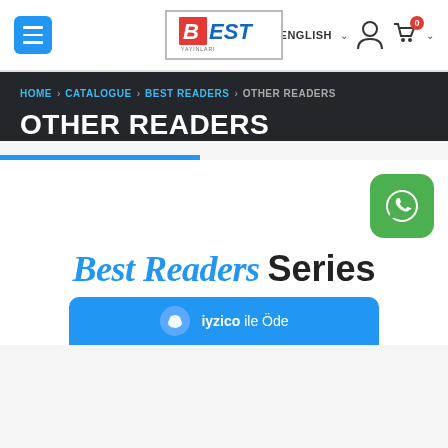[Figure (screenshot): Website navigation bar with hamburger menu button (blue), BEST logo in center, English language selector with UK flag, user icon, and cart with 0 items]
HOME > CATALOGUE > BEST READERS > OTHER READERS
OTHER READERS
[Figure (logo): WhatsApp green rounded square icon with phone handset]
Best Readers Series
iyzico ile Öde